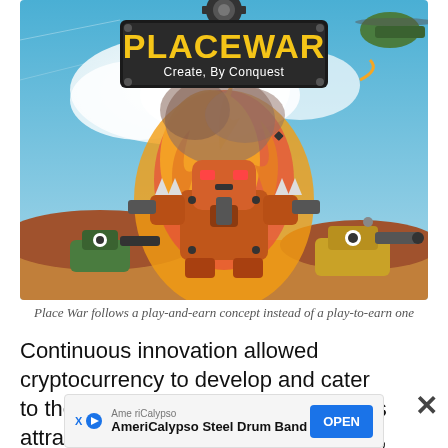[Figure (illustration): PlaceWar game banner showing cartoon battle robots and tanks with explosion in background, blue sky, and PlaceWar logo with subtitle 'Create, By Conquest']
Place War follows a play-and-earn concept instead of a play-to-earn one
Continuous innovation allowed cryptocurrency to develop and cater to the demands of various users, thus attracting more developers, investors, and users to the space.